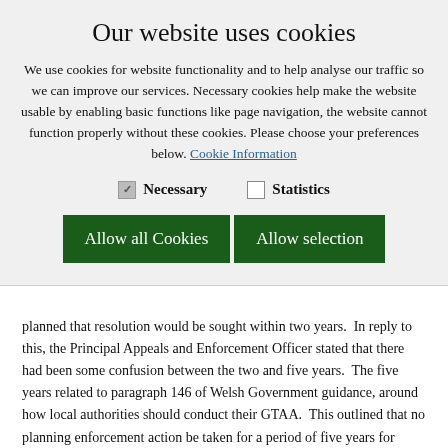Our website uses cookies
We use cookies for website functionality and to help analyse our traffic so we can improve our services. Necessary cookies help make the website usable by enabling basic functions like page navigation, the website cannot function properly without these cookies. Please choose your preferences below. Cookie Information
Necessary   Statistics
Allow all Cookies   Allow selection
planned that resolution would be sought within two years.  In reply to this, the Principal Appeals and Enforcement Officer stated that there had been some confusion between the two and five years.  The five years related to paragraph 146 of Welsh Government guidance, around how local authorities should conduct their GTAA.  This outlined that no planning enforcement action be taken for a period of five years for Gypsy and Travellers who were occupying a tolerated site while the Council assessed options.  This meant that the Council was meeting the needs of the Gypsy and Travellers occupying the